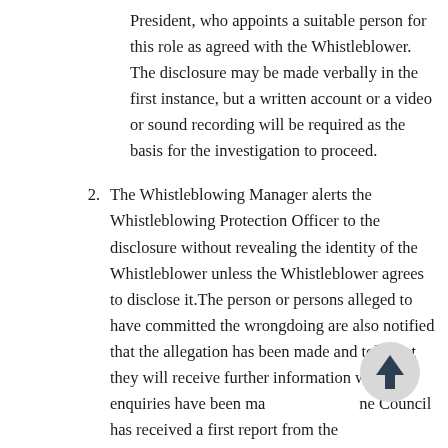President, who appoints a suitable person for this role as agreed with the Whistleblower. The disclosure may be made verbally in the first instance, but a written account or a video or sound recording will be required as the basis for the investigation to proceed.
2. The Whistleblowing Manager alerts the Whistleblowing Protection Officer to the disclosure without revealing the identity of the Whistleblower unless the Whistleblower agrees to disclose it.The person or persons alleged to have committed the wrongdoing are also notified that the allegation has been made and told that they will receive further information when enquiries have been made and the Council has received a first report from the Whistleblowing Manager.The Whistleblowing Manager will initiate enquiries no more than one week after